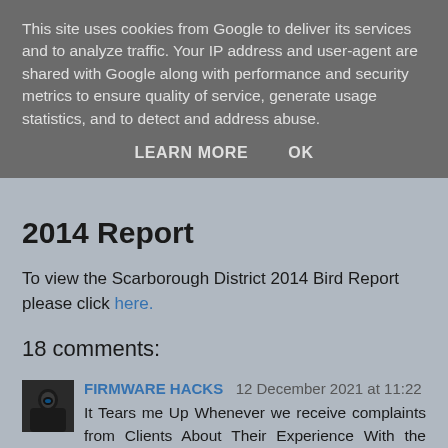This site uses cookies from Google to deliver its services and to analyze traffic. Your IP address and user-agent are shared with Google along with performance and security metrics to ensure quality of service, generate usage statistics, and to detect and address abuse.
LEARN MORE   OK
2014 Report
To view the Scarborough District 2014 Bird Report please click here.
18 comments:
FIRMWARE HACKS  12 December 2021 at 11:22
It Tears me Up Whenever we receive complaints from Clients About Their Experience With the Hackers They Met Before They Heard about us.
These Days There Are alot of Hackers Online. You Just